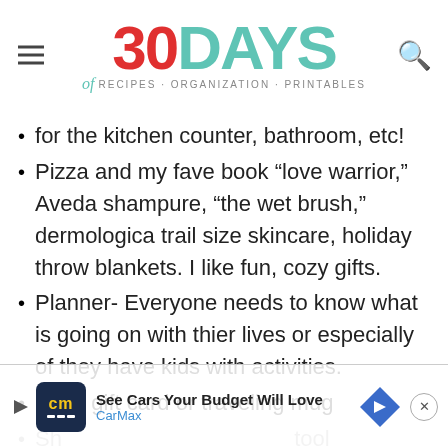[Figure (logo): 30 Days of Recipes · Organization · Printables logo with hamburger menu and search icon]
for the kitchen counter, bathroom, etc!
Pizza and my fave book “love warrior,” Aveda shampure, “the wet brush,” dermologica trail size skincare, holiday throw blankets. I like fun, cozy gifts.
Planner- Everyone needs to know what is going on with thier lives or especially of they have kids with activities.
Sbux gift card or traveling mug
Sh... tool...
Sn... old
[Figure (screenshot): CarMax advertisement banner: See Cars Your Budget Will Love]